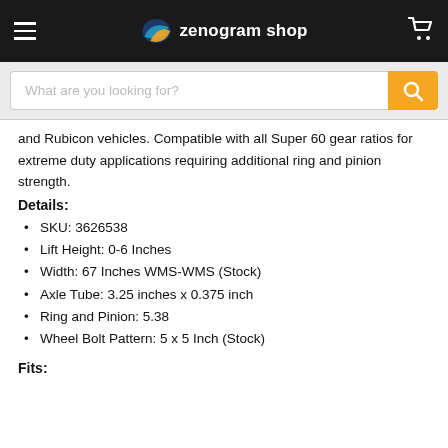zenogram shop
and Rubicon vehicles. Compatible with all Super 60 gear ratios for extreme duty applications requiring additional ring and pinion strength.
Details:
SKU: 3626538
Lift Height: 0-6 Inches
Width: 67 Inches WMS-WMS (Stock)
Axle Tube: 3.25 inches x 0.375 inch
Ring and Pinion: 5.38
Wheel Bolt Pattern: 5 x 5 Inch (Stock)
Fits: